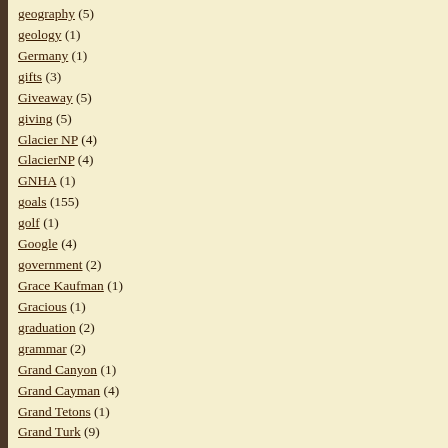geography (5)
geology (1)
Germany (1)
gifts (3)
Giveaway (5)
giving (5)
Glacier NP (4)
GlacierNP (4)
GNHA (1)
goals (155)
golf (1)
Google (4)
government (2)
Grace Kaufman (1)
Gracious (1)
graduation (2)
grammar (2)
Grand Canyon (1)
Grand Cayman (4)
Grand Tetons (1)
Grand Turk (9)
Grants (2)
gratitude (10)
Grenada (1)
grief (2)
grocery shopping (2)
grouping (2)
groups (1)
growth (4)